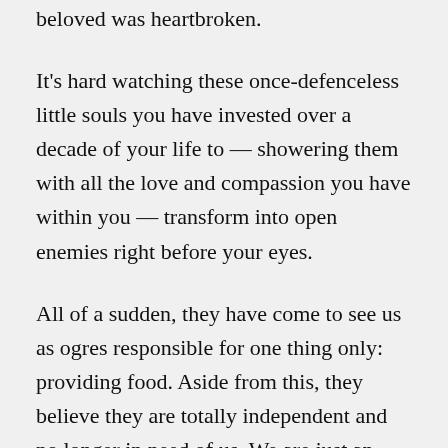beloved was heartbroken.
It’s hard watching these once-defenceless little souls you have invested over a decade of your life to — showering them with all the love and compassion you have within you — transform into open enemies right before your eyes.
All of a sudden, they have come to see us as ogres responsible for one thing only: providing food. Aside from this, they believe they are totally independent and no longer in need of us. We are just an obstacle for them, standing in their way, to be perpetually reminded of our shortcomings.
Despite teaching them to read and paying for tuition through the years, we’re ignoramuses who know